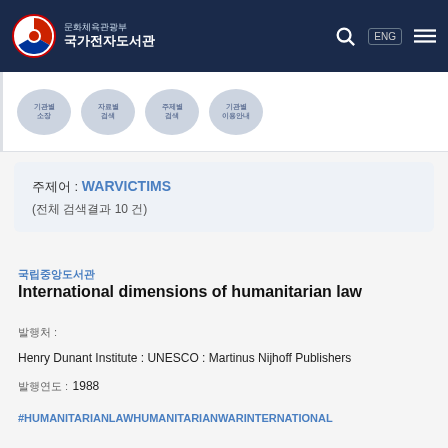문화체육관광부 국가전자도서관
[Figure (screenshot): Category navigation strip with four circular/rounded badge icons]
주제어 : WARVICTIMS (전체 검색결과 10 건)
국립중앙도서관
International dimensions of humanitarian law
발행처 : Henry Dunant Institute : UNESCO : Martinus Nijhoff Publishers
발행연도 : 1988
#HUMANITARIANLAWHUMANITARIANWARINTERNATIONAL